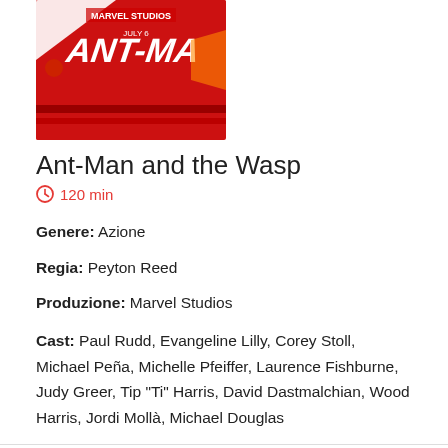[Figure (photo): Ant-Man and the Wasp movie poster, partially visible, showing red background with 'ANT-MA' text and Marvel branding]
Ant-Man and the Wasp
120 min
Genere: Azione
Regia: Peyton Reed
Produzione: Marvel Studios
Cast: Paul Rudd, Evangeline Lilly, Corey Stoll, Michael Peña, Michelle Pfeiffer, Laurence Fishburne, Judy Greer, Tip "Ti" Harris, David Dastmalchian, Wood Harris, Jordi Mollà, Michael Douglas
Search for
I cookie ci aiutano a fornire i nostri servizi. Utilizzando tali servizi, accetti l'utilizzo dei cookie da parte nostra.
OK
mostra_dettagli